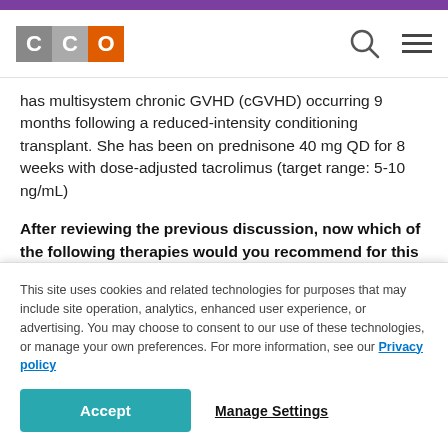CCO
has multisystem chronic GVHD (cGVHD) occurring 9 months following a reduced-intensity conditioning transplant. She has been on prednisone 40 mg QD for 8 weeks with dose-adjusted tacrolimus (target range: 5-10 ng/mL)
After reviewing the previous discussion, now which of the following therapies would you recommend for this patient?
This site uses cookies and related technologies for purposes that may include site operation, analytics, enhanced user experience, or advertising. You may choose to consent to our use of these technologies, or manage your own preferences. For more information, see our Privacy policy
Accept  Manage Settings